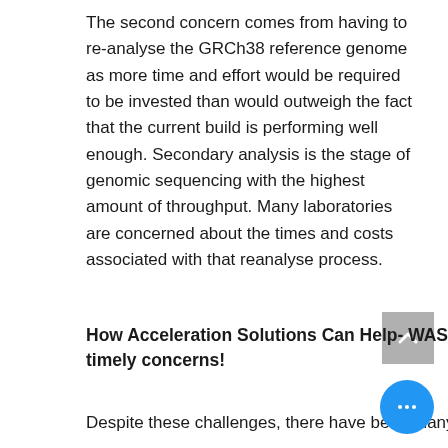The second concern comes from having to re-analyse the GRCh38 reference genome as more time and effort would be required to be invested than would outweigh the fact that the current build is performing well enough. Secondary analysis is the stage of genomic sequencing with the highest amount of throughput. Many laboratories are concerned about the times and costs associated with that reanalyse process.
How Acceleration Solutions Can Help- WASAI Lightning tackles both financial and timely concerns!
Despite these challenges, there have been many pivotal advancements in